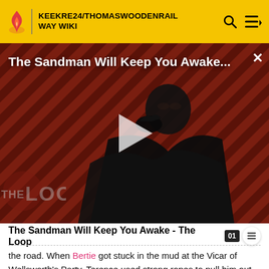KEEKRE24/THOMASWOODENRAILWAY WIKI
[Figure (screenshot): Video thumbnail for 'The Sandman Will Keep You Awake...' showing a figure in black with a crow, diagonal red/black striped background, large play button, and THE LOOP watermark overlay. Title text and close button visible at top.]
The Sandman Will Keep You Awake - The Loop
the road. When Bertie got stuck in the mud at the Vicar of Wellsworth's Party, Terence used strong ropes to pull him out. Later, when villagers were stranded by snow, Terence